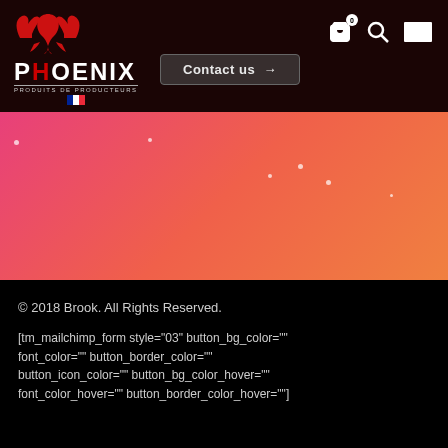[Figure (logo): Phoenix logo with red phoenix bird, PHOENIX text in white/red, subtitle PRODUITS DE PRODUCTEURS, French flag]
Contact us →
[Figure (illustration): Pink to orange-red gradient banner with scattered white dot decorations]
© 2018 Brook. All Rights Reserved.
[tm_mailchimp_form style="03" button_bg_color="" font_color="" button_border_color="" button_icon_color="" button_bg_color_hover="" font_color_hover="" button_border_color_hover=""]